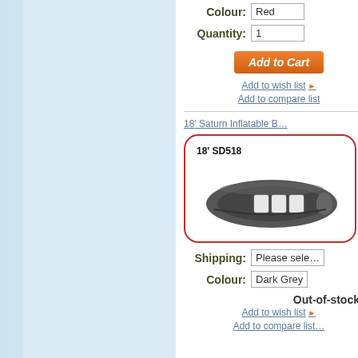Colour: Red
Quantity: 1
Add to Cart
Add to wish list
Add to compare list
18' Saturn Inflatable B…
[Figure (photo): 18' SD518 inflatable boat shown from above, dark grey color with white seat panels, displayed inside a rounded red border box]
Shipping: Please sele…
Colour: Dark Grey
Out-of-stock
Add to wish list
Add to compare list